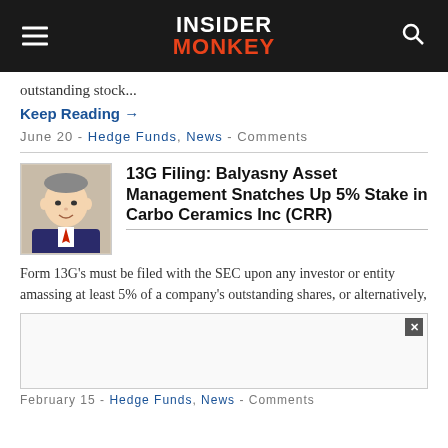INSIDER MONKEY
outstanding stock...
Keep Reading →
June 20 - Hedge Funds, News - Comments
13G Filing: Balyasny Asset Management Snatches Up 5% Stake in Carbo Ceramics Inc (CRR)
[Figure (illustration): Illustrated portrait of a man in a suit with a red tie, cartoon/caricature style]
Form 13G's must be filed with the SEC upon any investor or entity amassing at least 5% of a company's outstanding shares, or alternatively,
[Figure (other): Advertisement box with close button]
February 15 - Hedge Funds, News - Comments